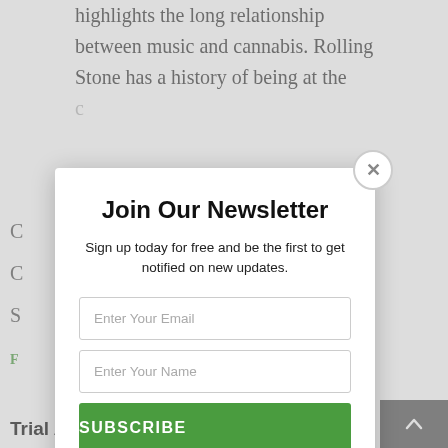highlights the long relationship between music and cannabis. Rolling Stone has a history of being at the c...
Join Our Newsletter
Sign up today for free and be the first to get notified on new updates.
Enter Your Email
Enter Your Name
SUBSCRIBE
We do not sell or share your information with anyone.
Trial Aims to Treat Symptoms of